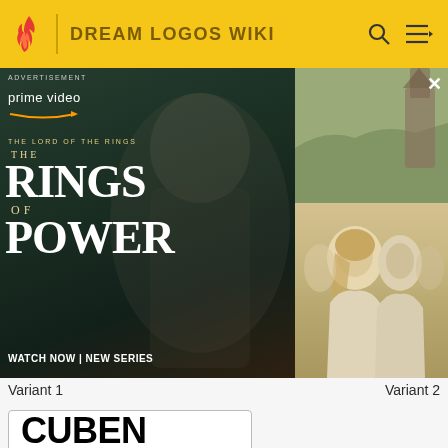DREAM LOGOS WIKI
[Figure (screenshot): Amazon Prime Video advertisement for 'The Lord of the Rings: The Rings of Power' showing a stone figure on the left panel and actors on the right panel. Text reads: ADVERTISEMENT, prime video, THE LORD OF THE RINGS THE RINGS OF POWER, WATCH NOW | NEW SERIES]
Variant 1	Variant 2
[Figure (logo): Cuben Corp logo in a bordered white box. Shows 'CUBEN CORP' in large bold black text with a star and swoosh line beneath.]
Print variant (Seen on many newspapers)
2006-2015